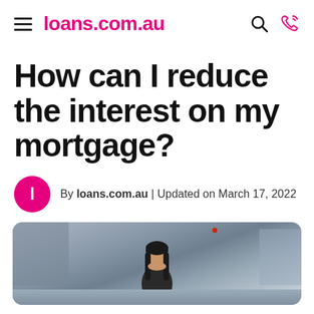loans.com.au
How can I reduce the interest on my mortgage?
By loans.com.au | Updated on March 17, 2022
[Figure (photo): Woman with dark hair looking down, photographed on a city street with buildings in the background]